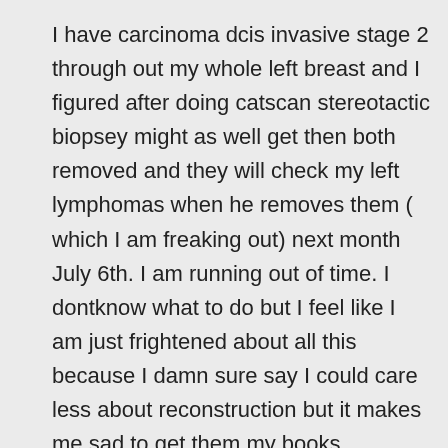I have carcinoma dcis invasive stage 2 through out my whole left breast and I figured after doing catscan stereotactic biopsey might as well get then both removed and they will check my left lymphomas when he removes them ( which I am freaking out) next month July 6th. I am running out of time. I dontknow what to do but I feel like I am just frightened about all this because I damn sure say I could care less about reconstruction but it makes me sad to get them my books removed. I found you through